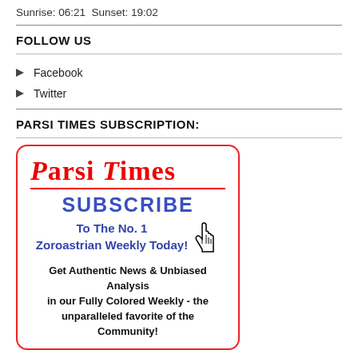Sunrise: 06:21 Sunset: 19:02
FOLLOW US
Facebook
Twitter
PARSI TIMES SUBSCRIPTION:
[Figure (illustration): Parsi Times subscription advertisement box with red border showing 'PARSI TIMES' in red serif font, 'SUBSCRIBE' in large blue bold letters, 'To The No. 1 Zoroastrian Weekly Today!' with a hand cursor icon, and text 'Get Authentic News & Unbiased Analysis in our Fully Colored Weekly - the unparalleled favorite of the Community!']